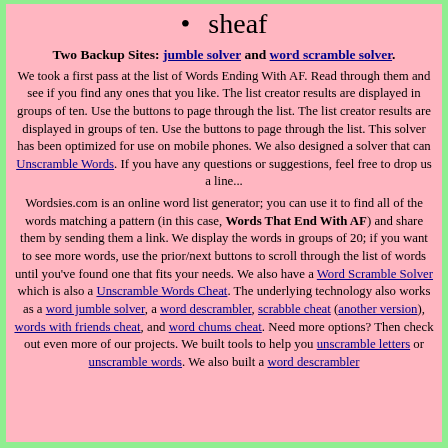sheaf
Two Backup Sites: jumble solver and word scramble solver.
We took a first pass at the list of Words Ending With AF. Read through them and see if you find any ones that you like. The list creator results are displayed in groups of ten. Use the buttons to page through the list. The list creator results are displayed in groups of ten. Use the buttons to page through the list. This solver has been optimized for use on mobile phones. We also designed a solver that can Unscramble Words. If you have any questions or suggestions, feel free to drop us a line...
Wordsies.com is an online word list generator; you can use it to find all of the words matching a pattern (in this case, Words That End With AF) and share them by sending them a link. We display the words in groups of 20; if you want to see more words, use the prior/next buttons to scroll through the list of words until you've found one that fits your needs. We also have a Word Scramble Solver which is also a Unscramble Words Cheat. The underlying technology also works as a word jumble solver, a word descrambler, scrabble cheat (another version), words with friends cheat, and word chums cheat. Need more options? Then check out even more of our projects. We built tools to help you unscramble letters or unscramble words. We also built a word descrambler